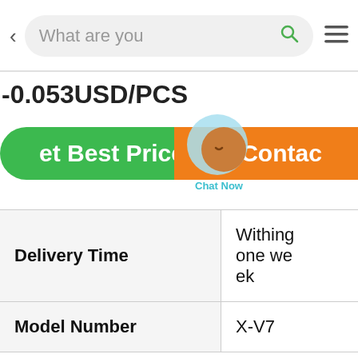[Figure (screenshot): Mobile app navigation bar with back arrow, search bar reading 'What are you', search icon, and hamburger menu icon]
-0.053USD/PCS
[Figure (infographic): Green 'Get Best Price' button and orange 'Contact' button side by side, with a chat bubble overlay labeled 'Chat Now']
| Delivery Time | Withing one week |
| Model Number | X-V7 |